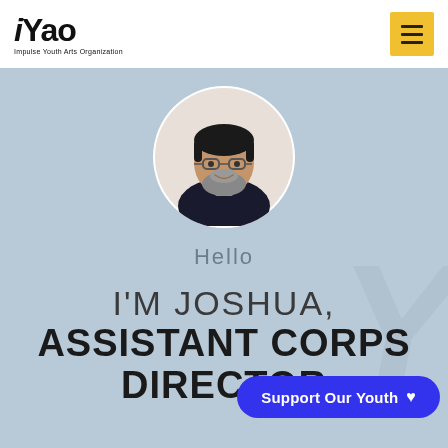[Figure (logo): iYao logo with 'Impulse Youth Arts Organization' tagline]
[Figure (photo): Circular headshot of a bearded man with glasses wearing a dark shirt, smiling]
Hello
I'M JOSHUA, ASSISTANT CORPS DIRECTOR
Support Our Youth ♥